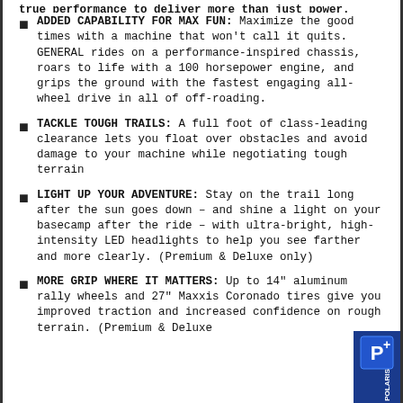ADDED CAPABILITY FOR MAX FUN: Maximize the good times with a machine that won't call it quits. GENERAL rides on a performance-inspired chassis, roars to life with a 100 horsepower engine, and grips the ground with the fastest engaging all-wheel drive in all of off-roading.
TACKLE TOUGH TRAILS: A full foot of class-leading clearance lets you float over obstacles and avoid damage to your machine while negotiating tough terrain
LIGHT UP YOUR ADVENTURE: Stay on the trail long after the sun goes down – and shine a light on your basecamp after the ride – with ultra-bright, high-intensity LED headlights to help you see farther and more clearly. (Premium & Deluxe only)
MORE GRIP WHERE IT MATTERS: Up to 14" aluminum rally wheels and 27" Maxxis Coronado tires give you improved traction and increased confidence on rough terrain. (Premium & Deluxe